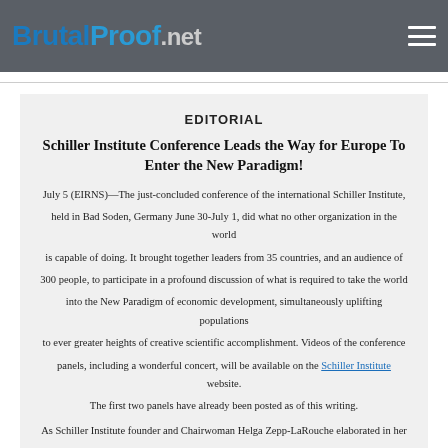BrutalProof.net
EDITORIAL
Schiller Institute Conference Leads the Way for Europe To Enter the New Paradigm!
July 5 (EIRNS)—The just-concluded conference of the international Schiller Institute, held in Bad Soden, Germany June 30-July 1, did what no other organization in the world is capable of doing. It brought together leaders from 35 countries, and an audience of 300 people, to participate in a profound discussion of what is required to take the world into the New Paradigm of economic development, simultaneously uplifting populations to ever greater heights of creative scientific accomplishment. Videos of the conference panels, including a wonderful concert, will be available on the Schiller Institute website. The first two panels have already been posted as of this writing.
As Schiller Institute founder and Chairwoman Helga Zepp-LaRouche elaborated in her international webcast today, this past weekend's conference, unlike those of other